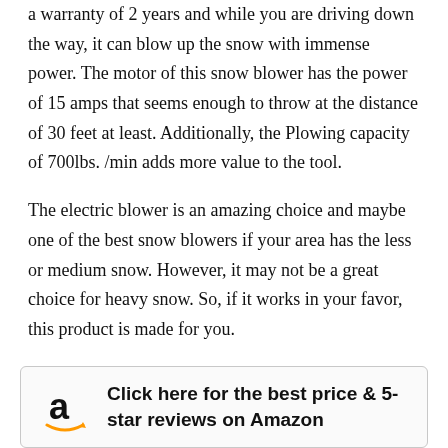a warranty of 2 years and while you are driving down the way, it can blow up the snow with immense power. The motor of this snow blower has the power of 15 amps that seems enough to throw at the distance of 30 feet at least. Additionally, the Plowing capacity of 700lbs. /min adds more value to the tool.
The electric blower is an amazing choice and maybe one of the best snow blowers if your area has the less or medium snow. However, it may not be a great choice for heavy snow. So, if it works in your favor, this product is made for you.
[Figure (other): Amazon call-to-action box with Amazon logo and text: Click here for the best price & 5-star reviews on Amazon]